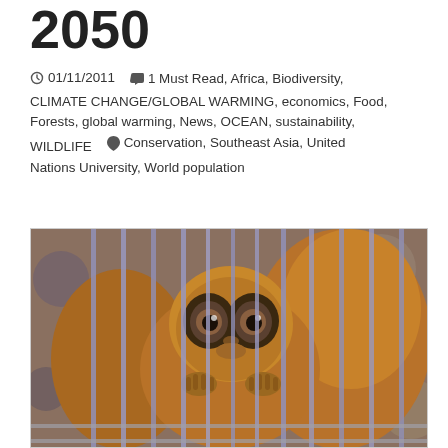2050
01/11/2011   1 Must Read, Africa, Biodiversity, CLIMATE CHANGE/GLOBAL WARMING, economics, Food, Forests, global warming, News, OCEAN, sustainability, WILDLIFE   Conservation, Southeast Asia, United Nations University, World population
[Figure (photo): A slow loris (small primate) inside a wire cage, looking forward with large eyes, holding cage bars with its hands. Blurred background.]